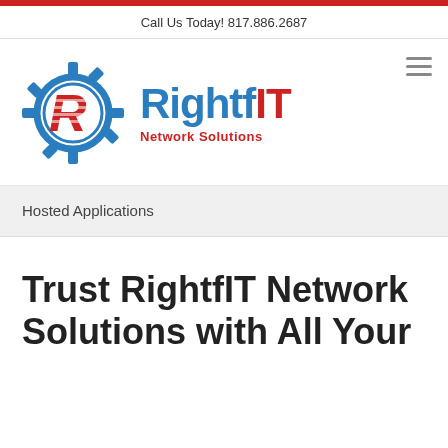Call Us Today! 817.886.2687
[Figure (logo): RightfIT Network Solutions logo: a blue gear icon with a red stylized R inside, next to the text 'RightfIT' in blue with 'IT' in red, and 'Network Solutions' in red below]
Hosted Applications
Trust RightfIT Network Solutions with All Your